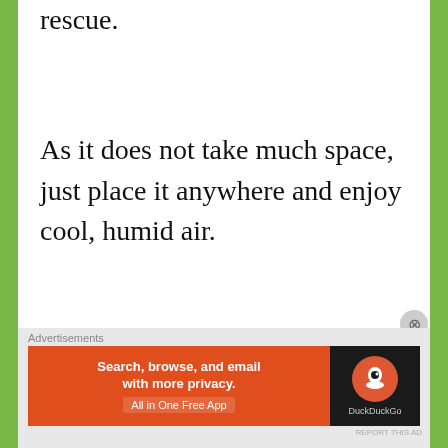rescue.
As it does not take much space, just place it anywhere and enjoy cool, humid air.
However, the device should be kept away from catching fire or getting wet.
[Figure (other): DuckDuckGo advertisement banner: orange left panel with text 'Search, browse, and email with more privacy. All in One Free App' and dark right panel with DuckDuckGo logo and name.]